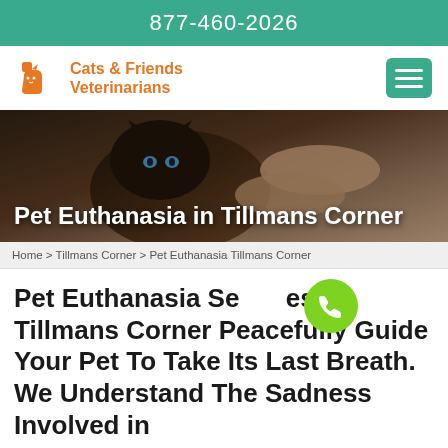877-460-2026
[Figure (logo): Cats & Friends Veterinarians logo with orange cat icon and orange text]
[Figure (photo): Close-up photo of a dark-colored cat being petted by human hands, hero banner image]
Pet Euthanasia in Tillmans Corner
Home > Tillmans Corner > Pet Euthanasia Tillmans Corner
Pet Euthanasia Services in Tillmans Corner Peacefully Guide Your Pet To Take Its Last Breath. We Understand The Sadness Involved in